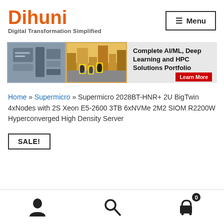Dihuni — Digital Transformation Simplified
[Figure (screenshot): Navigation menu button with hamburger icon and 'Menu' text, bordered box]
[Figure (infographic): Banner advertisement: two images (server hardware and city scene with AI detection overlays) on left, text 'Complete AI/ML, Deep Learning and HPC Solutions Portfolio' with red 'Learn More' button on right, gray background]
Home » Supermicro » Supermicro 2028BT-HNR+ 2U BigTwin 4xNodes with 2S Xeon E5-2600 3TB 6xNVMe 2M2 SIOM R2200W Hyperconverged High Density Server
SALE!
User icon, Search icon, Cart icon (0 items)